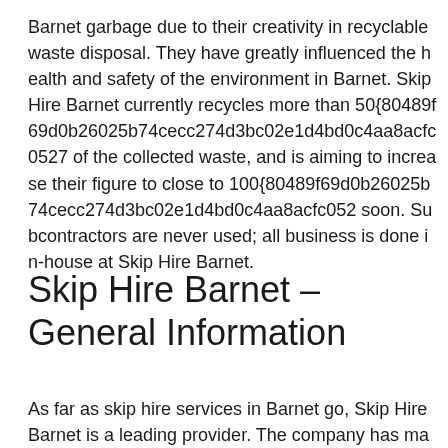Barnet garbage due to their creativity in recyclable waste disposal. They have greatly influenced the health and safety of the environment in Barnet. Skip Hire Barnet currently recycles more than 50{80489f69d0b26025b74cecc274d3bc02e1d4bd0c4aa8acfc0527 of the collected waste, and is aiming to increase their figure to close to 100{80489f69d0b26025b74cecc274d3bc02e1d4bd0c4aa8acfc052 soon. Subcontractors are never used; all business is done in-house at Skip Hire Barnet.
Skip Hire Barnet – General Information
As far as skip hire services in Barnet go, Skip Hire Barnet is a leading provider. The company has made a name in the delivery